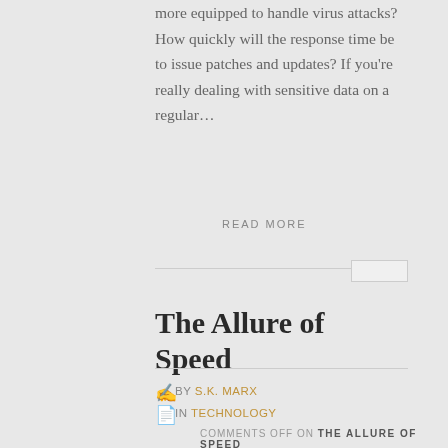more equipped to handle virus attacks? How quickly will the response time be to issue patches and updates? If you're really dealing with sensitive data on a regular…
READ MORE
The Allure of Speed
BY S.K. MARX
IN TECHNOLOGY
COMMENTS OFF ON THE ALLURE OF SPEED
[Figure (photo): Outdoor photo showing what appears to be a tower or structure with green foliage and blue sky]